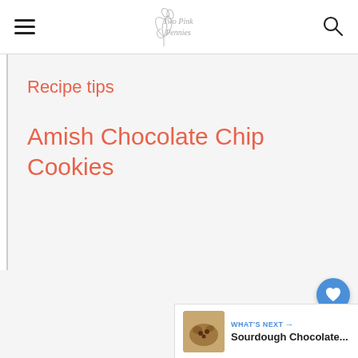Two Pink Pennies
Recipe tips
Amish Chocolate Chip Cookies
[Figure (screenshot): What's Next widget showing Sourdough Chocolate... with cookie image thumbnail]
WHAT'S NEXT → Sourdough Chocolate...